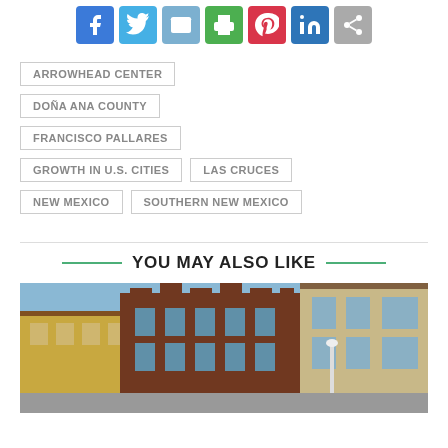[Figure (other): Social media sharing icons row: Facebook (blue), Twitter (light blue), Email (blue-grey), Print (green), Pinterest (red), LinkedIn (blue), Share (grey)]
ARROWHEAD CENTER
DOÑA ANA COUNTY
FRANCISCO PALLARES
GROWTH IN U.S. CITIES
LAS CRUCES
NEW MEXICO
SOUTHERN NEW MEXICO
YOU MAY ALSO LIKE
[Figure (photo): Street-level photo of historic brick buildings in what appears to be a downtown area, with a clear blue sky in the background.]